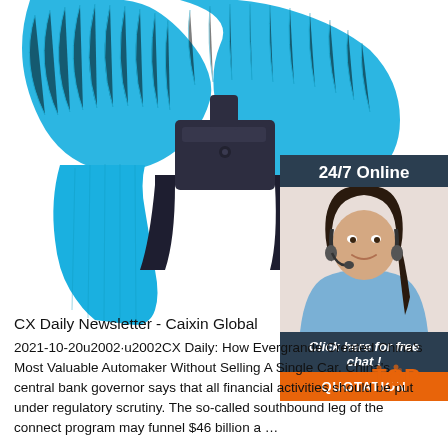[Figure (photo): Close-up photo of a blue ribbed belt/strap with a dark plastic buckle clasp against a white background]
[Figure (infographic): Advertisement banner: dark teal/navy background with '24/7 Online' text, photo of smiling woman with headset, 'Click here for free chat!' text, and orange QUOTATION button]
CX Daily Newsletter - Caixin Global
2021-10-20u2002·u2002CX Daily: How Evergrande Created China's Most Valuable Automaker Without Selling A Single Car. China's central bank governor says that all financial activities should be put under regulatory scrutiny. The so-called southbound leg of the connect program may funnel $46 billion a ...